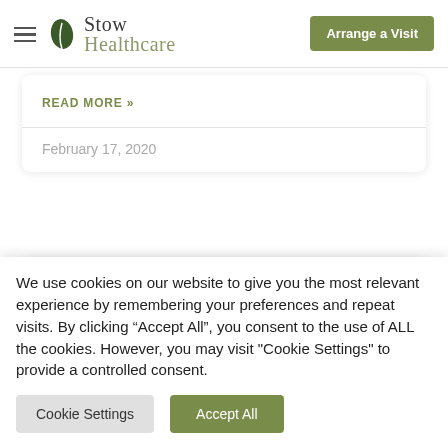[Figure (logo): Stow Healthcare logo with leaf icon and navigation header including Arrange a Visit button]
READ MORE »
February 17, 2020
[Figure (photo): Partial card with a blurred interior photo and a golden BRANDON PARK badge/label on the right]
We use cookies on our website to give you the most relevant experience by remembering your preferences and repeat visits. By clicking "Accept All", you consent to the use of ALL the cookies. However, you may visit "Cookie Settings" to provide a controlled consent.
Cookie Settings
Accept All